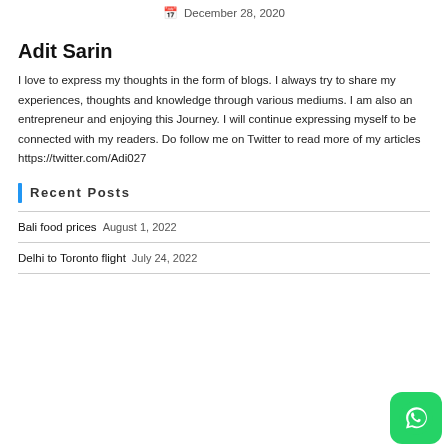December 28, 2020
Adit Sarin
I love to express my thoughts in the form of blogs. I always try to share my experiences, thoughts and knowledge through various mediums. I am also an entrepreneur and enjoying this Journey. I will continue expressing myself to be connected with my readers. Do follow me on Twitter to read more of my articles https://twitter.com/Adi027
Recent Posts
Bali food prices August 1, 2022
Delhi to Toronto flight July 24, 2022